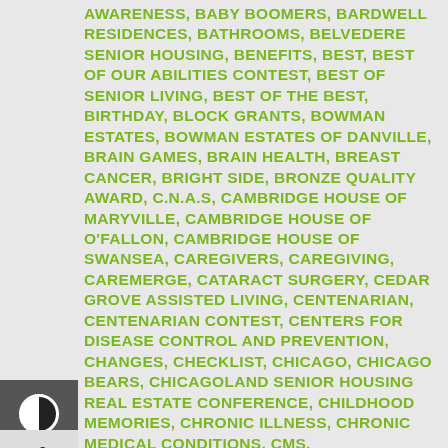AWARENESS, BABY BOOMERS, BARDWELL RESIDENCES, BATHROOMS, BELVEDERE SENIOR HOUSING, BENEFITS, BEST, BEST OF OUR ABILITIES CONTEST, BEST OF SENIOR LIVING, BEST OF THE BEST, BIRTHDAY, BLOCK GRANTS, BOWMAN ESTATES, BOWMAN ESTATES OF DANVILLE, BRAIN GAMES, BRAIN HEALTH, BREAST CANCER, BRIGHT SIDE, BRONZE QUALITY AWARD, C.N.A.S, CAMBRIDGE HOUSE OF MARYVILLE, CAMBRIDGE HOUSE OF O'FALLON, CAMBRIDGE HOUSE OF SWANSEA, CAREGIVERS, CAREGIVING, CAREMERGE, CATARACT SURGERY, CEDAR GROVE ASSISTED LIVING, CENTENARIAN, CENTENARIAN CONTEST, CENTERS FOR DISEASE CONTROL AND PREVENTION, CHANGES, CHECKLIST, CHICAGO, CHICAGO BEARS, CHICAGOLAND SENIOR HOUSING REAL ESTATE CONFERENCE, CHILDHOOD MEMORIES, CHRONIC ILLNESS, CHRONIC MEDICAL CONDITIONS, CMS,